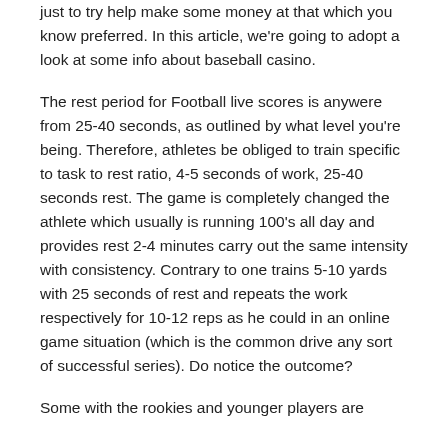just to try help make some money at that which you know preferred. In this article, we're going to adopt a look at some info about baseball casino.
The rest period for Football live scores is anywere from 25-40 seconds, as outlined by what level you're being. Therefore, athletes be obliged to train specific to task to rest ratio, 4-5 seconds of work, 25-40 seconds rest. The game is completely changed the athlete which usually is running 100's all day and provides rest 2-4 minutes carry out the same intensity with consistency. Contrary to one trains 5-10 yards with 25 seconds of rest and repeats the work respectively for 10-12 reps as he could in an online game situation (which is the common drive any sort of successful series). Do notice the outcome?
Some with the rookies and younger players are